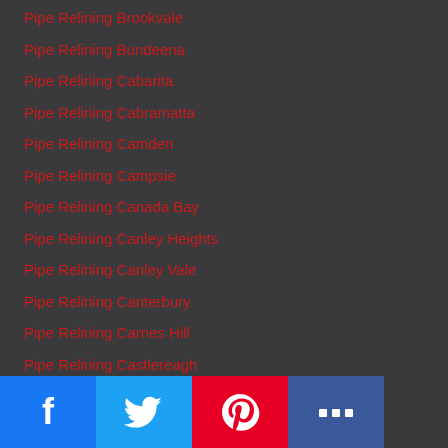Pipe Relining Brookvale
Pipe Relining Bundeena
Pipe Relining Cabarita
Pipe Relining Cabramatta
Pipe Relining Camden
Pipe Relining Campsie
Pipe Relining Canada Bay
Pipe Relining Canley Heights
Pipe Relining Canley Vale
Pipe Relining Canterbury
Pipe Relining Carnes Hill
Pipe Relining Castlereagh
Pipe Relining Catherine Field
Pipe Relining Chester Hill
Pipe Relining Chifley
Pipe Relining Chiswick
Pipe Relining Chowder Bay
Pipe Relining Chullora
Pipe Relining Clovelly